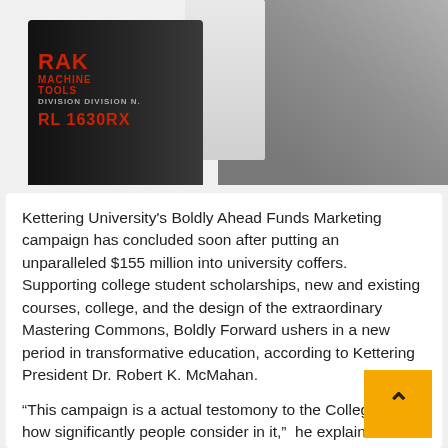[Figure (photo): A machine tool (labeled 'RAK MACHINE TOOLS' and model '1630RX') with a person in grey clothing visible in the background.]
Kettering University's Boldly Ahead Funds Marketing campaign has concluded soon after putting an unparalleled $155 million into university coffers. Supporting college student scholarships, new and existing courses, college, and the design of the extraordinary Mastering Commons, Boldly Forward ushers in a new period in transformative education, according to Kettering President Dr. Robert K. McMahan.
“This campaign is a actual testomony to the College and how significantly people consider in it,”  he explained. “from the volunteers on the campaign committee and hardworking University Improvement team to more than 6,200 generous and fully commited donors. What it has already produced possible has been a game-changer.”